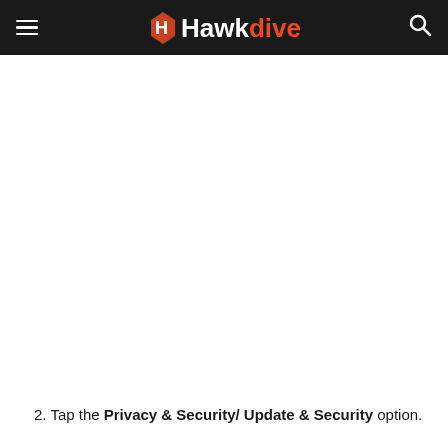Hawkdive
2. Tap the Privacy & Security/ Update & Security option.